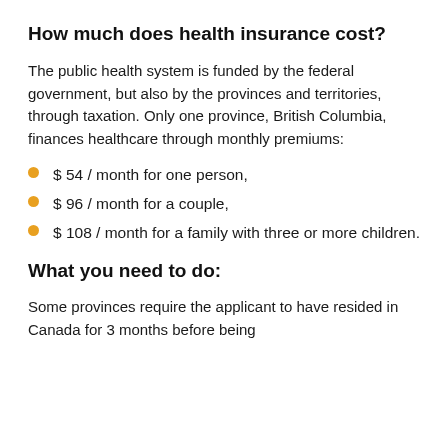How much does health insurance cost?
The public health system is funded by the federal government, but also by the provinces and territories, through taxation. Only one province, British Columbia, finances healthcare through monthly premiums:
$ 54 / month for one person,
$ 96 / month for a couple,
$ 108 / month for a family with three or more children.
What you need to do:
Some provinces require the applicant to have resided in Canada for 3 months before being